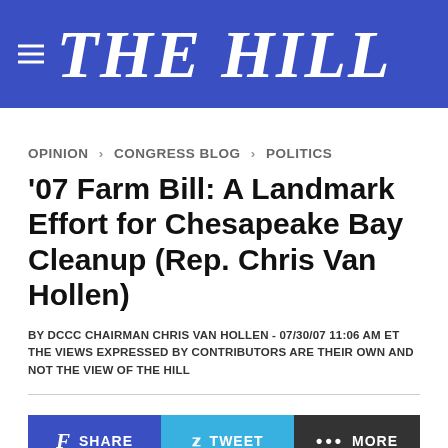THE HILL
OPINION > CONGRESS BLOG > POLITICS
'07 Farm Bill: A Landmark Effort for Chesapeake Bay Cleanup (Rep. Chris Van Hollen)
BY DCCC CHAIRMAN CHRIS VAN HOLLEN - 07/30/07 11:06 AM ET THE VIEWS EXPRESSED BY CONTRIBUTORS ARE THEIR OWN AND NOT THE VIEW OF THE HILL